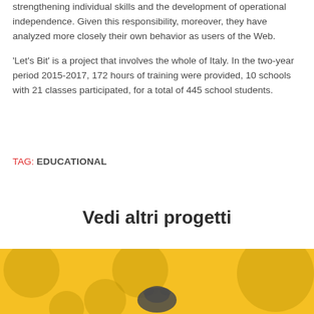strengthening individual skills and the development of operational independence. Given this responsibility, moreover, they have analyzed more closely their own behavior as users of the Web.

'Let's Bit' is a project that involves the whole of Italy. In the two-year period 2015-2017, 172 hours of training were provided, 10 schools with 21 classes participated, for a total of 445 school students.
TAG: EDUCATIONAL
Vedi altri progetti
[Figure (illustration): Yellow card/banner with decorative dark yellow circles and a partial illustration at the bottom center showing what appears to be a graphic icon]